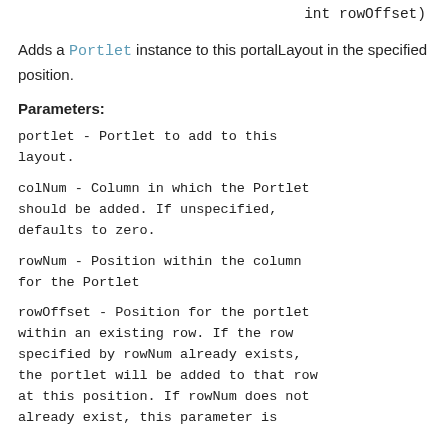int rowOffset)
Adds a Portlet instance to this portalLayout in the specified position.
Parameters:
portlet - Portlet to add to this layout.
colNum - Column in which the Portlet should be added. If unspecified, defaults to zero.
rowNum - Position within the column for the Portlet
rowOffset - Position for the portlet within an existing row. If the row specified by rowNum already exists, the portlet will be added to that row at this position. If rowNum does not already exist, this parameter is